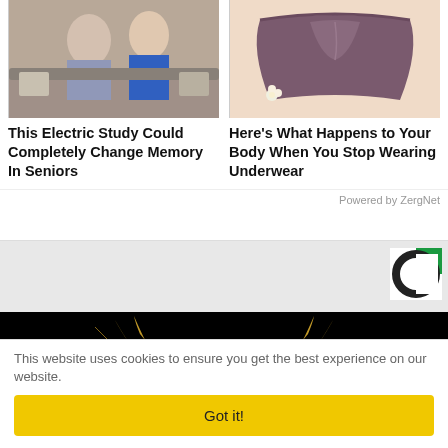[Figure (photo): Two people sitting on a couch, one in a blue shirt, lifestyle photo for electric study memory article]
This Electric Study Could Completely Change Memory In Seniors
[Figure (photo): Purple underwear on a light peachy background with a flower]
Here's What Happens to Your Body When You Stop Wearing Underwear
Powered by ZergNet
[Figure (logo): Circular C logo with green background, advertisement logo]
[Figure (photo): Golden eagle heraldic illustration on black background]
This website uses cookies to ensure you get the best experience on our website.
Got it!